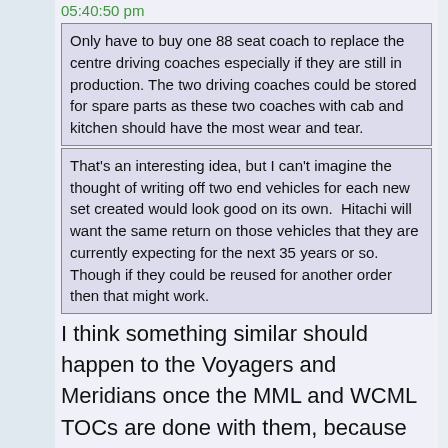05:40:50 pm
Only have to buy one 88 seat coach to replace the centre driving coaches especially if they are still in production. The two driving coaches could be stored for spare parts as these two coaches with cab and kitchen should have the most wear and tear.
That's an interesting idea, but I can't imagine the thought of writing off two end vehicles for each new set created would look good on its own.  Hitachi will want the same return on those vehicles that they are currently expecting for the next 35 years or so. Though if they could be reused for another order then that might work.
I think something similar should happen to the Voyagers and Meridians once the MML and WCML TOCs are done with them, because they're not so new scrapping some of the driving vehicles would be less unpallatable. Basically the 220s would have their centre cars inserted into 222s (assuming the two types are similar enough) and 221s merged with other 221s. For the class 800s, I have an